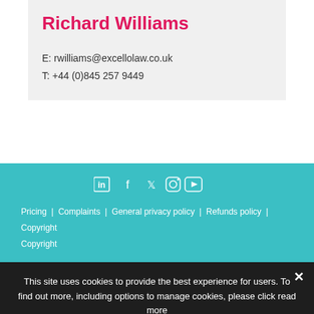Richard Williams
E: rwilliams@excellolaw.co.uk
T: +44 (0)845 257 9449
Pricing | Complaints | General privacy policy | Refunds policy | Copyright
This site uses cookies to provide the best experience for users. To find out more, including options to manage cookies, please click read more
Ok   Privacy policy